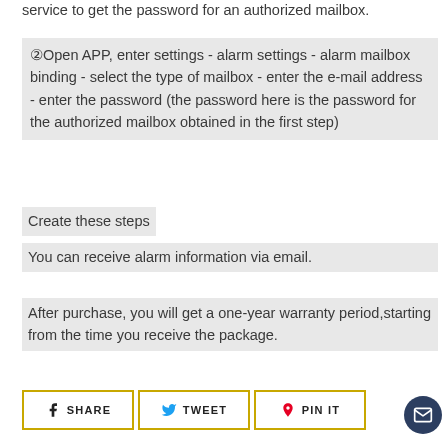service to get the password for an authorized mailbox.
②Open APP, enter settings - alarm settings - alarm mailbox binding - select the type of mailbox - enter the e-mail address - enter the password (the password here is the password for the authorized mailbox obtained in the first step)
Create these steps
You can receive alarm information via email.
After purchase, you will get a one-year warranty period,starting from the time you receive the package.
SHARE   TWEET   PIN IT